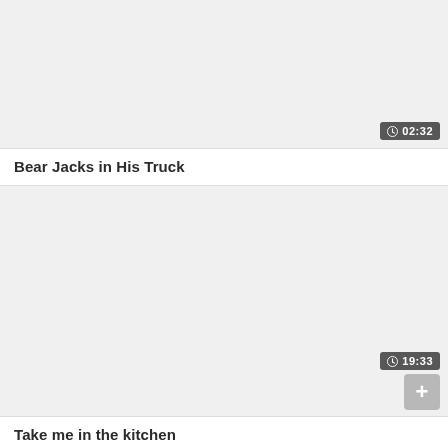[Figure (screenshot): Video thumbnail placeholder (light gray background) for 'Bear Jacks in His Truck' with duration badge showing 02:32]
Bear Jacks in His Truck
[Figure (screenshot): Video thumbnail placeholder (light gray background) for 'Take me in the kitchen' with duration badge showing 19:33]
Take me in the kitchen